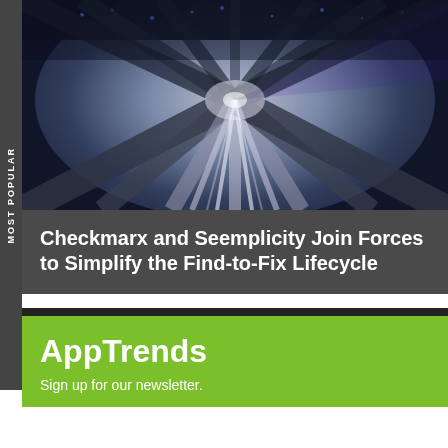[Figure (photo): Motion-blurred highway tunnel photo with streaking light trails, dark blue and purple tones suggesting high speed movement through an urban tunnel.]
Checkmarx and Seemplicity Join Forces to Simplify the Find-to-Fix Lifecycle
MOST POPULAR
AppTrends
Sign up for our newsletter.